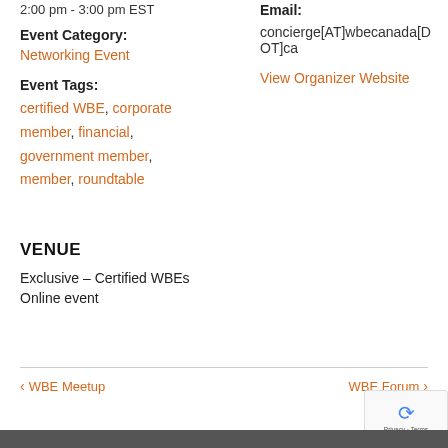2:00 pm - 3:00 pm EST
Event Category:
Networking Event
Event Tags:
certified WBE, corporate member, financial, government member, member, roundtable
Email:
concierge[AT]wbecanada[DOT]ca
View Organizer Website
VENUE
Exclusive – Certified WBEs
Online event
< WBE Meetup
WBE Forum >